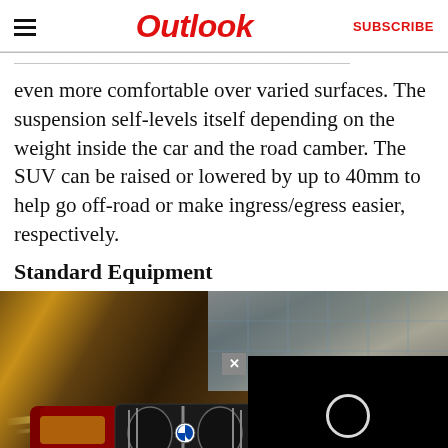Outlook — SUBSCRIBE
even more comfortable over varied surfaces. The suspension self-levels itself depending on the weight inside the car and the road camber. The SUV can be raised or lowered by up to 40mm to help go off-road or make ingress/egress easier, respectively.
Standard Equipment
[Figure (photo): BMW SUV (license plate M-AA 9038) in dark red, photographed from the front at speed with motion blur. A black video player overlay appears in the lower right with a close button.]